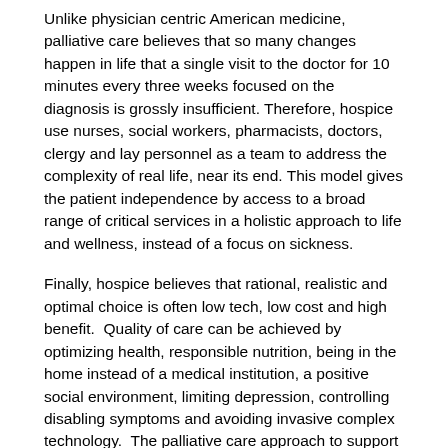Unlike physician centric American medicine, palliative care believes that so many changes happen in life that a single visit to the doctor for 10 minutes every three weeks focused on the diagnosis is grossly insufficient. Therefore, hospice use nurses, social workers, pharmacists, doctors, clergy and lay personnel as a team to address the complexity of real life, near its end. This model gives the patient independence by access to a broad range of critical services in a holistic approach to life and wellness, instead of a focus on sickness.
Finally, hospice believes that rational, realistic and optimal choice is often low tech, low cost and high benefit.  Quality of care can be achieved by optimizing health, responsible nutrition, being in the home instead of a medical institution, a positive social environment, limiting depression, controlling disabling symptoms and avoiding invasive complex technology.  The palliative care approach to support and health can extend life and quality at greatly reduced cost.
This systemic model; high education and personal empowerment, a team of health providers of many specialties, improvement in quality, cost and outcomes through a rational, practical and realistic approach to choice and goals, has a great deal to offer.  While not perfect, hospice has shown over the last 40 years, in contrast to most of the health care industry, that it can deliver gentle, quality and life extending